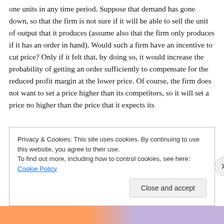one units in any time period. Suppose that demand has gone down, so that the firm is not sure if it will be able to sell the unit of output that it produces (assume also that the firm only produces if it has an order in hand). Would such a firm have an incentive to cut price? Only if it felt that, by doing so, it would increase the probability of getting an order sufficiently to compensate for the reduced profit margin at the lower price. Of course, the firm does not want to set a price higher than its competitors, so it will set a price no higher than the price that it expects its
Privacy & Cookies: This site uses cookies. By continuing to use this website, you agree to their use.
To find out more, including how to control cookies, see here: Cookie Policy